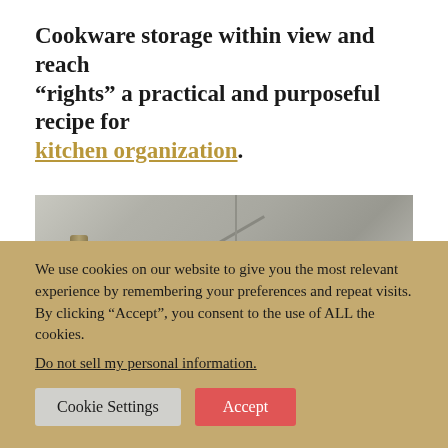Cookware storage within view and reach “rights” a practical and purposeful recipe for kitchen organization.
[Figure (photo): Close-up photo of gray/beige cabinet doors with circular chrome knobs/handles, one marked with a cursive letter, and a vertical metal bar handle.]
We use cookies on our website to give you the most relevant experience by remembering your preferences and repeat visits. By clicking “Accept”, you consent to the use of ALL the cookies.
Do not sell my personal information.